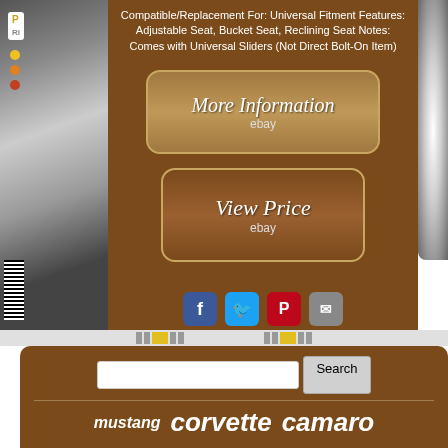Compatible/Replacement For: Universal Fitment Features: Adjustable Seat, Bucket Seat, Reclining Seat Notes: Comes with Universal Sliders (Not Direct Bolt-On Item)
[Figure (screenshot): Button styled as 'More Information' with ebay logo, brown/tan rounded rectangle]
[Figure (screenshot): Button styled as 'View Price' with ebay logo, brown rounded rectangle]
[Figure (infographic): Social media sharing icons: Facebook, Twitter, Pinterest, Email]
[Figure (screenshot): Search bar with text input and Search button]
mustang   corvette   camaro   intercooler   cover   screen